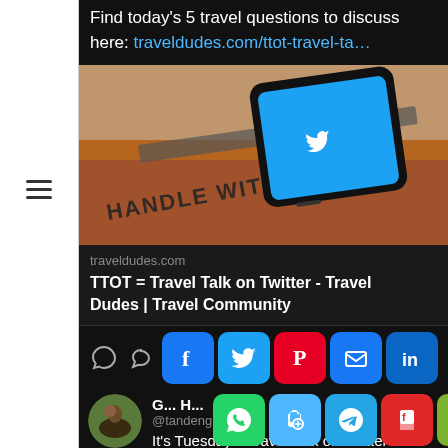Find today's 5 travel questions to discuss here: traveldudes.com/ttot-travel-ta…
[Figure (photo): Smartphone showing Twitter app lying on a cardboard box labeled HANDLE WITH CARE]
traveldudes.com
TTOT = Travel Talk on Twitter - Travel Dudes | Travel Community
[Figure (screenshot): Social share buttons: Facebook, Twitter, Pinterest, Email, LinkedIn, WhatsApp, Copy link, Telegram, Flipboard, WeChat, Gmail, More]
[Figure (photo): User avatar - person on a horse]
G... H... @tandenghdi · 2h It's Tuesday... Travel Talk on Twitter